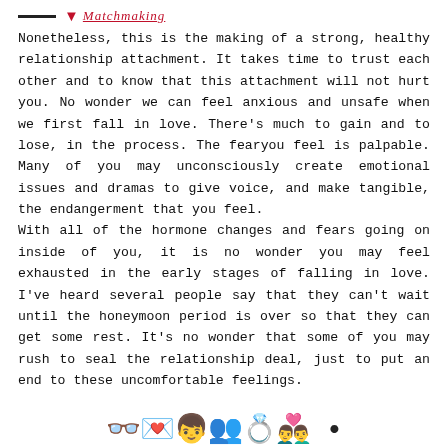Matchmaking
Nonetheless, this is the making of a strong, healthy relationship attachment. It takes time to trust each other and to know that this attachment will not hurt you. No wonder we can feel anxious and unsafe when we first fall in love. There's much to gain and to lose, in the process. The fearyou feel is palpable. Many of you may unconsciously create emotional issues and dramas to give voice, and make tangible, the endangerment that you feel.
With all of the hormone changes and fears going on inside of you, it is no wonder you may feel exhausted in the early stages of falling in love. I've heard several people say that they can't wait until the honeymoon period is over so that they can get some rest. It's no wonder that some of you may rush to seal the relationship deal, just to put an end to these uncomfortable feelings.
Kis MatchMaking